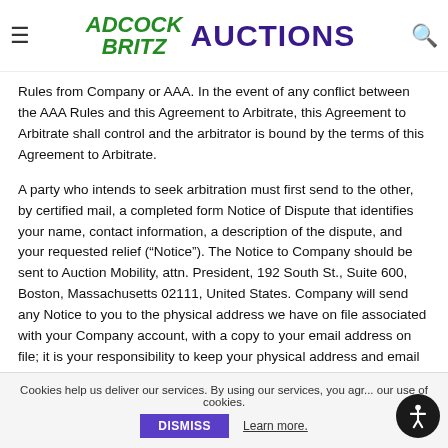Adcock Britz Auctions
Rules from Company or AAA. In the event of any conflict between the AAA Rules and this Agreement to Arbitrate, this Agreement to Arbitrate shall control and the arbitrator is bound by the terms of this Agreement to Arbitrate.
A party who intends to seek arbitration must first send to the other, by certified mail, a completed form Notice of Dispute that identifies your name, contact information, a description of the dispute, and your requested relief (“Notice”). The Notice to Company should be sent to Auction Mobility, attn. President, 192 South St., Suite 600, Boston, Massachusetts 02111, United States. Company will send any Notice to you to the physical address we have on file associated with your Company account, with a copy to your email address on file; it is your responsibility to keep your physical address and email address up to date.
Cookies help us deliver our services. By using our services, you agr... our use of cookies. DISMISS Learn more.